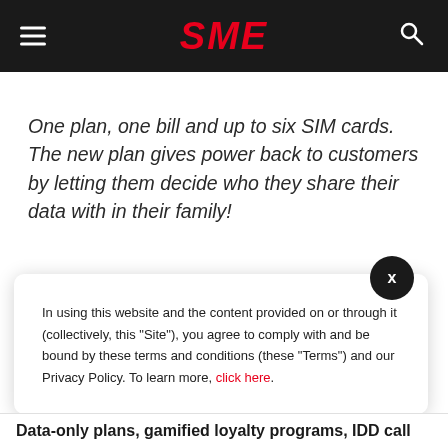SME
One plan, one bill and up to six SIM cards. The new plan gives power back to customers by letting them decide who they share their data with in their family!
In using this website and the content provided on or through it (collectively, this "Site"), you agree to comply with and be bound by these terms and conditions (these "Terms") and our Privacy Policy. To learn more, click here.
Data-only plans, gamified loyalty programs, IDD call